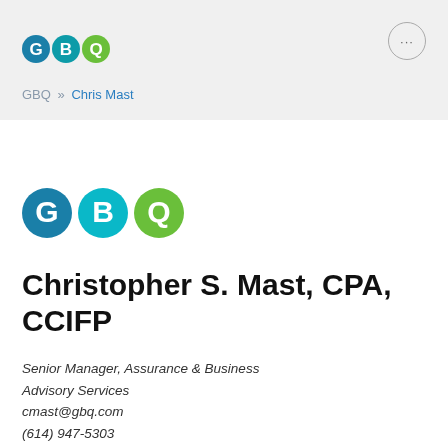[Figure (logo): GBQ logo in header: three circles with letters G (teal), B (dark teal), Q (green)]
[Figure (other): Circle button with three dots (menu icon) in top right]
GBQ » Chris Mast
[Figure (logo): GBQ logo main: three circles with letters G (teal), B (dark teal), Q (green)]
Christopher S. Mast, CPA, CCIFP
Senior Manager, Assurance & Business Advisory Services
cmast@gbq.com
(614) 947-5303